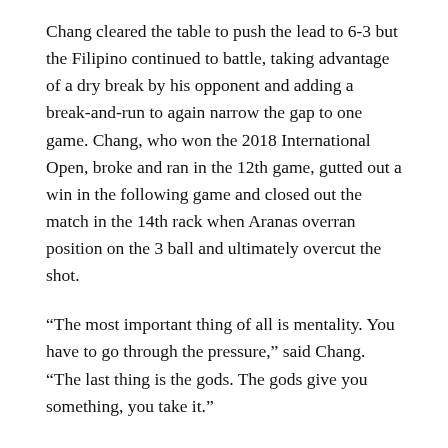Chang cleared the table to push the lead to 6-3 but the Filipino continued to battle, taking advantage of a dry break by his opponent and adding a break-and-run to again narrow the gap to one game. Chang, who won the 2018 International Open, broke and ran in the 12th game, gutted out a win in the following game and closed out the match in the 14th rack when Aranas overran position on the 3 ball and ultimately overcut the shot.
“The most important thing of all is mentality. You have to go through the pressure,” said Chang. “The last thing is the gods. The gods give you something, you take it.”
The second-place finish is one of Aranas’s best in a 128-player tournament with an international field. The Filipino, who is reigning Super Billiards Expo 10 ball champion, opened the event with three consecutive 7-5 victories against Doug Hendricks, Chris Melling and Mario Villis...